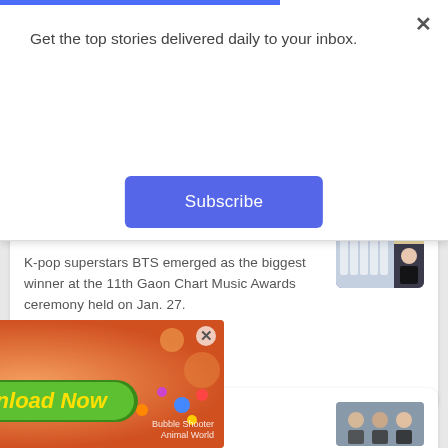Get the top stories delivered daily to your inbox.
Subscribe
Winners at 11th Gaon Chart Music Awards
K-pop superstars BTS emerged as the biggest winner at the 11th Gaon Chart Music Awards ceremony held on Jan. 27.
7 MONTHS AGO
[Figure (photo): Photo collage showing K-pop group BTS and a female celebrity]
Celebrities
[Figure (photo): Photo of celebrities]
[Figure (screenshot): Mobile game advertisement with orange background showing 'Love this game Can't stop playing!' and 'Download Now' button. Bubble Shooter Animal World game ad.]